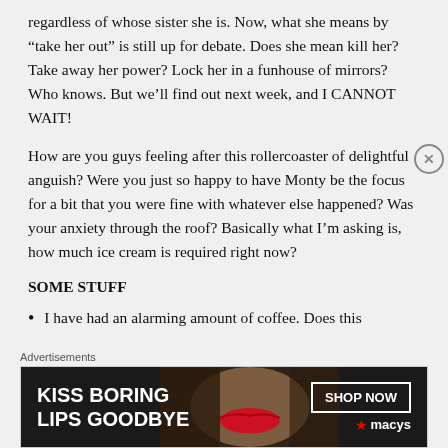regardless of whose sister she is. Now, what she means by “take her out” is still up for debate. Does she mean kill her? Take away her power? Lock her in a funhouse of mirrors? Who knows. But we’ll find out next week, and I CANNOT WAIT!
How are you guys feeling after this rollercoaster of delightful anguish? Were you just so happy to have Monty be the focus for a bit that you were fine with whatever else happened? Was your anxiety through the roof? Basically what I’m asking is, how much ice cream is required right now?
SOME STUFF
I have had an alarming amount of coffee. Does this
[Figure (infographic): Advertisement banner for Macy's lipstick promotion. Dark background with woman's face/lips visible. Text reads 'KISS BORING LIPS GOODBYE' with 'SHOP NOW' button and Macy's star logo.]